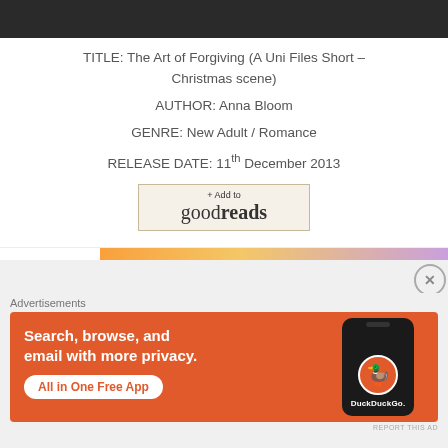[Figure (photo): Dark cropped book cover image with faint text at the top]
TITLE: The Art of Forgiving (A Uni Files Short – Christmas scene)
AUTHOR: Anna Bloom
GENRE: New Adult / Romance
RELEASE DATE: 11th December 2013
[Figure (logo): + Add to goodreads button]
[Figure (infographic): Advertisement banner strip with orange/purple gradient]
REPORT THIS AD
Advertisements
[Figure (illustration): DuckDuckGo advertisement: Search, browse, and email with more privacy. All in One Free App. Shows DuckDuckGo logo and phone graphic on orange background.]
REPORT THIS AD